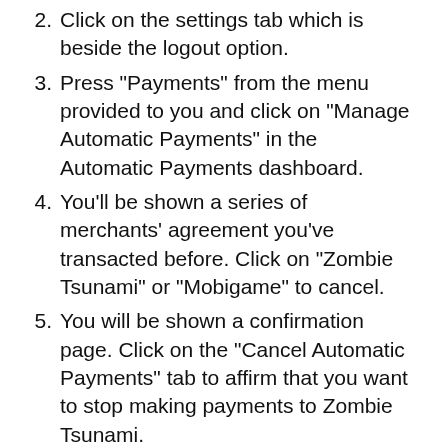2. Click on the settings tab which is beside the logout option.
3. Press "Payments" from the menu provided to you and click on "Manage Automatic Payments" in the Automatic Payments dashboard.
4. You'll be shown a series of merchants' agreement you've transacted before. Click on "Zombie Tsunami" or "Mobigame" to cancel.
5. You will be shown a confirmation page. Click on the "Cancel Automatic Payments" tab to affirm that you want to stop making payments to Zombie Tsunami.
6. Then click "Done" on the verification page to complete the unsubscription.